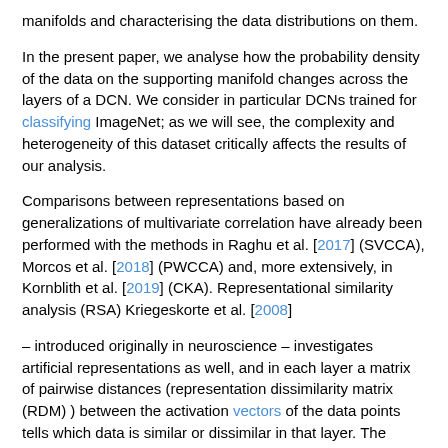manifolds and characterising the data distributions on them.
In the present paper, we analyse how the probability density of the data on the supporting manifold changes across the layers of a DCN. We consider in particular DCNs trained for classifying ImageNet; as we will see, the complexity and heterogeneity of this dataset critically affects the results of our analysis.
Comparisons between representations based on generalizations of multivariate correlation have already been performed with the methods in Raghu et al. [2017] (SVCCA), Morcos et al. [2018] (PWCCA) and, more extensively, in Kornblith et al. [2019] (CKA). Representational similarity analysis (RSA) Kriegeskorte et al. [2008]
– introduced originally in neuroscience – investigates artificial representations as well, and in each layer a matrix of pairwise distances (representation dissimilarity matrix (RDM) ) between the activation vectors of the data points tells which data is similar or dissimilar in that layer. The introduction of RDMs allowed performing multiple